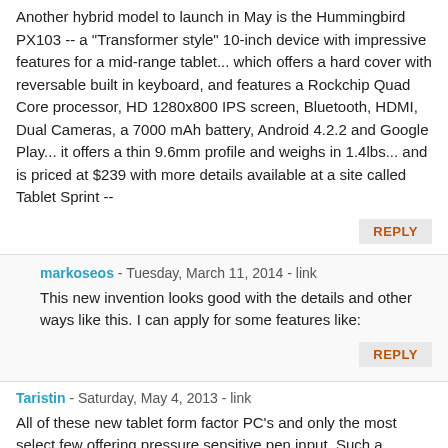Another hybrid model to launch in May is the Hummingbird PX103 -- a "Transformer style" 10-inch device with impressive features for a mid-range tablet... which offers a hard cover with reversable built in keyboard, and features a Rockchip Quad Core processor, HD 1280x800 IPS screen, Bluetooth, HDMI, Dual Cameras, a 7000 mAh battery, Android 4.2.2 and Google Play... it offers a thin 9.6mm profile and weighs in 1.4lbs... and is priced at $239 with more details available at a site called Tablet Sprint --
REPLY
markoseos - Tuesday, March 11, 2014 - link
This new invention looks good with the details and other ways like this. I can apply for some features like:
REPLY
Taristin - Saturday, May 4, 2013 - link
All of these new tablet form factor PC's and only the most select few offering pressure sensitive pen input. Such a shame. I know it's a niche market but there are a lot of us who would love an affordable art tablet.
REPLY
Roland00Address - Saturday, May 4, 2013 - link